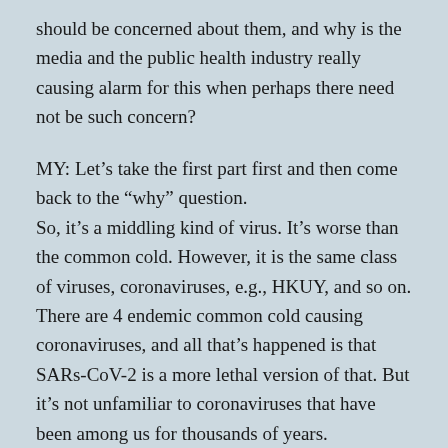should be concerned about them, and why is the media and the public health industry really causing alarm for this when perhaps there need not be such concern?
MY: Let’s take the first part first and then come back to the “why” question.
So, it’s a middling kind of virus. It’s worse than the common cold. However, it is the same class of viruses, coronaviruses, e.g., HKUY, and so on. There are 4 endemic common cold causing coronaviruses, and all that’s happened is that SARs-CoV-2 is a more lethal version of that. But it’s not unfamiliar to coronaviruses that have been among us for thousands of years.
5:15
MY: So...variants...This is a very large virus. It’s made of protein, of amino acids, the building blocks of protein.